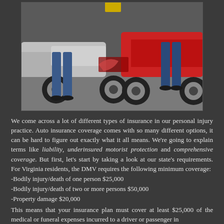[Figure (photo): Two people standing near cars that have been in a collision, viewed from the waist down. One person wears jeans and dark shoes next to a silver car; another in jeans and dark shoes next to a red car.]
We come across a lot of different types of insurance in our personal injury practice. Auto insurance coverage comes with so many different options, it can be hard to figure out exactly what it all means. We're going to explain terms like liability, underinsured motorist protection and comprehensive coverage. But first, let's start by taking a look at our state's requirements. For Virginia residents, the DMV requires the following minimum coverage:
-Bodily injury/death of one person $25,000
-Bodily injury/death of two or more persons $50,000
-Property damage $20,000
This means that your insurance plan must cover at least $25,000 of the medical or funeral expenses incurred to a driver or passenger in